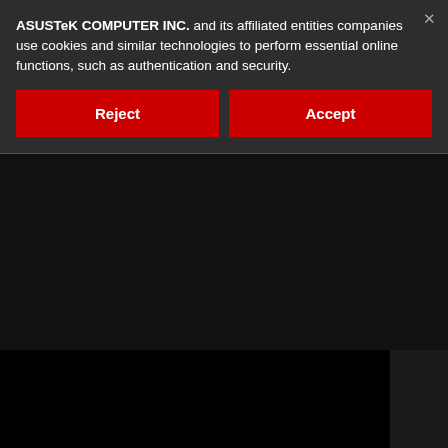ASUSTeK COMPUTER INC. and its affiliated entities companies use cookies and similar technologies to perform essential online functions, such as authentication and security.
Reject
Accept
backwards (defective).
Attachment 91744
I ended up replacing my Z690 Hero board since I wasn't able to find a affected.
Thank you for the information. Visual com number, I can confirm I have a defective b through Asus? I asked if they would swap no, only for Hero whenever they get any, Maybe Newegg will honor a replacement difference to get the Formula.
Ugh, have to completely reinstall Window complete nightmare.